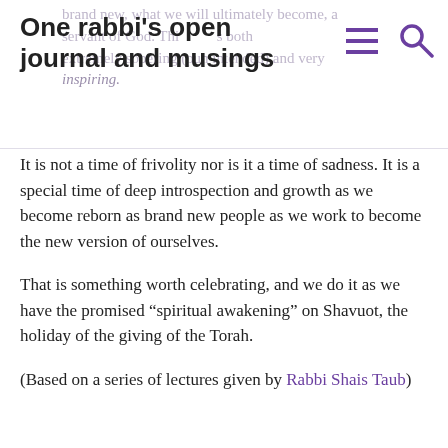One rabbi's open journal and musings
brand new, what we will ultimately become, a servant of God. This both extremely sobering (pun intended) and very inspiring.
It is not a time of frivolity nor is it a time of sadness. It is a special time of deep introspection and growth as we become reborn as brand new people as we work to become the new version of ourselves.
That is something worth celebrating, and we do it as we have the promised “spiritual awakening” on Shavuot, the holiday of the giving of the Torah.
(Based on a series of lectures given by Rabbi Shais Taub)